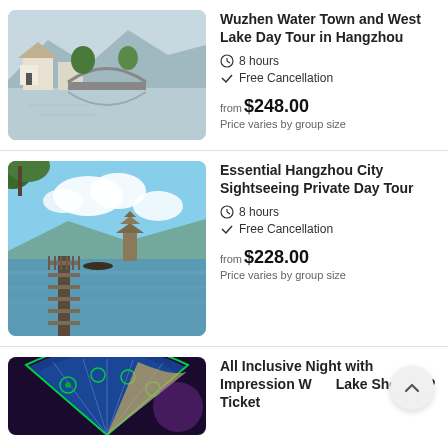[Figure (photo): Scenic view of Wuzhen Water Town with traditional buildings, stone arch bridge reflected in calm water, mountains in background]
Wuzhen Water Town and West Lake Day Tour in Hangzhou
8 hours
Free Cancellation
from $248.00
Price varies by group size
[Figure (photo): West Lake Hangzhou with long wooden pier/walkway extending over calm water, pagoda in background, sky with clouds]
Essential Hangzhou City Sightseeing Private Day Tour
8 hours
Free Cancellation
from $228.00
Price varies by group size
[Figure (photo): Colorful decorative fan with blue floral patterns on dark background, festival atmosphere]
All Inclusive Night with Impression West Lake Show VIP Ticket